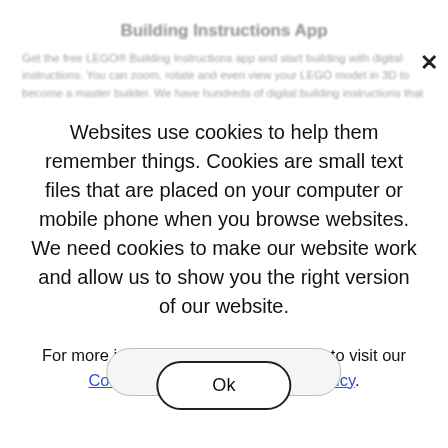Building Instructions App
Get the free LEGO® Building Instructions app and start building with digital instructions. You can zoom, rotate and even view your LEGO model in 3D to become a master builder. We have hundreds of digital building instructions that you can search or explore.
It also helps you use the app of our builder and makes it easy to find building instructions for your set. You can search for your set or instructions on the instructions to find our set.
Websites use cookies to help them remember things. Cookies are small text files that are placed on your computer or mobile phone when you browse websites. We need cookies to make our website work and allow us to show you the right version of our website.
For more information, ask your parents to visit our Cookie Policy and our Privacy Policy.
Explore App →
Ok